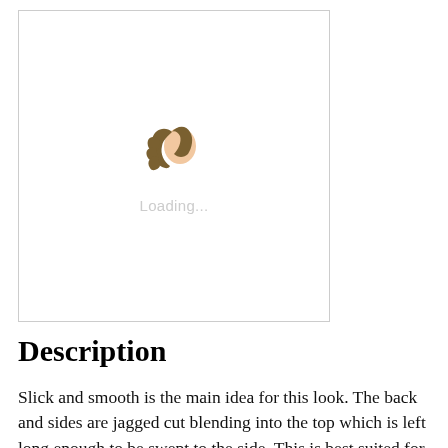[Figure (illustration): A loading placeholder image in a bordered box showing a stylized illustration of a woman's head with brown hair blowing to the side, with 'Loading...' text below the icon.]
Description
Slick and smooth is the main idea for this look. The back and sides are jagged cut blending into the top which is left long enough to be swept to the side. This is best suited for those with naturally straight hair and will need a little product for hold and